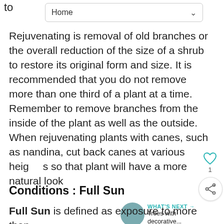to
[Figure (screenshot): Dropdown UI element labeled 'Home' with a chevron arrow on the right]
Rejuvenating is removal of old branches or the overall reduction of the size of a shrub to restore its original form and size. It is recommended that you do not remove more than one third of a plant at a time. Remember to remove branches from the inside of the plant as well as the outside. When rejuvenating plants with canes, such as nandina, cut back canes at various heights so that plant will have a more natural look
Conditions : Full Sun
Full Sun is defined as exposure to more than 6 hours of continuous, direct sun per day